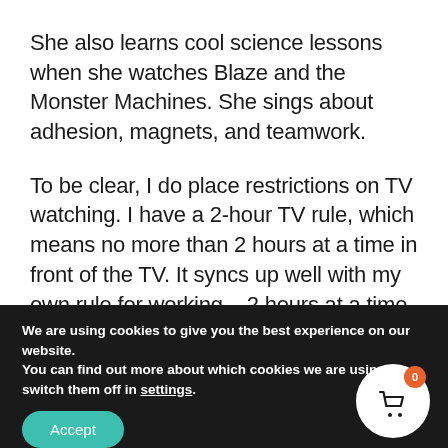She also learns cool science lessons when she watches Blaze and the Monster Machines. She sings about adhesion, magnets, and teamwork.
To be clear, I do place restrictions on TV watching. I have a 2-hour TV rule, which means no more than 2 hours at a time in front of the TV. It syncs up well with my own rule for working – 2 hours at a time, with breaks for stretching as needed.
We are using cookies to give you the best experience on our website.
You can find out more about which cookies we are using or switch them off in settings.
Accept